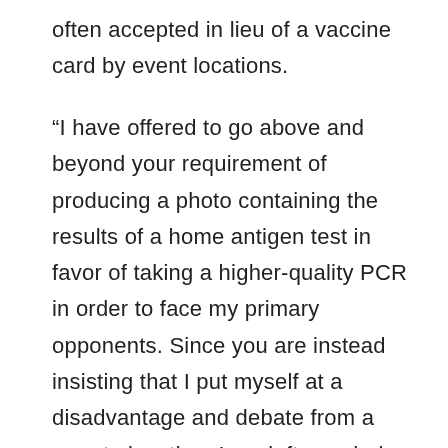often accepted in lieu of a vaccine card by event locations.
“I have offered to go above and beyond your requirement of producing a photo containing the results of a home antigen test in favor of taking a higher-quality PCR in order to face my primary opponents. Since you are instead insisting that I put myself at a disadvantage and debate from a remote location, I am left wondering whether health and safety are your primary objectives here.”